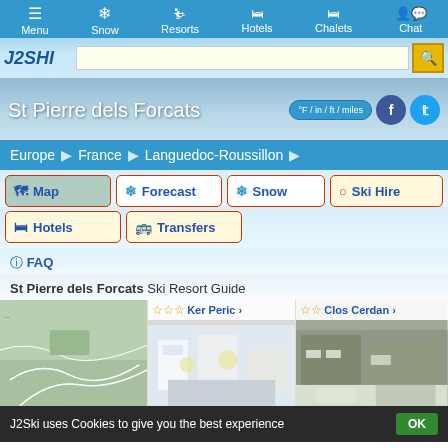Menu | Snow | Resorts | Hotels | Chalets | Chat
[Figure (screenshot): J2SKI brand logo in blue italic text]
St Pierre dels Forcats
°F / in / ft / miles
Europe > France > Languedoc-Roussillon
Map | Forecast | Snow | Ski Hire | Hotels | Transfers
FAQ
St Pierre dels Forcats Ski Resort Guide
[Figure (map): Map showing location of St Pierre dels Forcats ski resort area]
Ker Peric >
Clos Cerdan >
J2Ski uses Cookies to give you the best experience OK